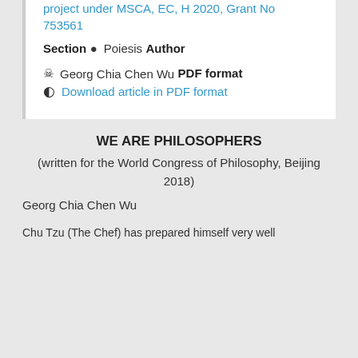project under MSCA, EC, H 2020, Grant No 753561
Section
Poiesis
Author
Georg Chia Chen Wu
PDF format
Download article in PDF format
WE ARE PHILOSOPHERS
(written for the World Congress of Philosophy, Beijing 2018)
Georg Chia Chen Wu
Chu Tzu (The Chef) has prepared himself very well